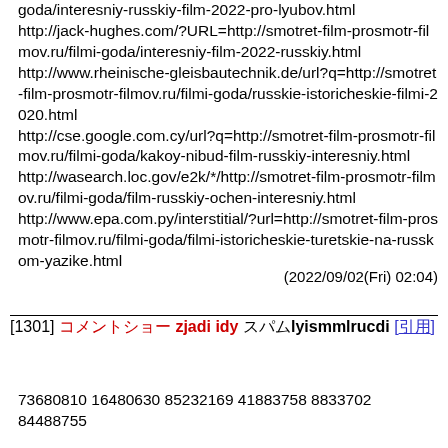goda/interesniy-russkiy-film-2022-pro-lyubov.html
http://jack-hughes.com/?URL=http://smotret-film-prosmotr-filmov.ru/filmi-goda/interesniy-film-2022-russkiy.html
http://www.rheinische-gleisbautechnik.de/url?q=http://smotret-film-prosmotr-filmov.ru/filmi-goda/russkie-istoricheskie-filmi-2020.html
http://cse.google.com.cy/url?q=http://smotret-film-prosmotr-filmov.ru/filmi-goda/kakoy-nibud-film-russkiy-interesniy.html
http://wasearch.loc.gov/e2k/*/http://smotret-film-prosmotr-filmov.ru/filmi-goda/film-russkiy-ochen-interesniy.html
http://www.epa.com.py/interstitial/?url=http://smotret-film-prosmotr-filmov.ru/filmi-goda/filmi-istoricheskie-turetskie-na-russkom-yazike.html
(2022/09/02(Fri) 02:04)
[1301] Ответить на zjadi idy スパムlyismmlrucdi [引用]
73680810 16480630 85232169 41883758 8833702 84488755